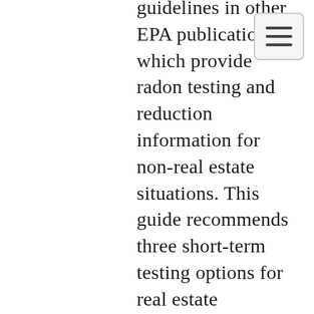guidelines in other EPA publications which provide radon testing and reduction information for non-real estate situations. This guide recommends three short-term testing options for real estate transactions. The EPA also recommends testing a home in the lowest level which is currently suitable for occupancy, since a buyer may choose to